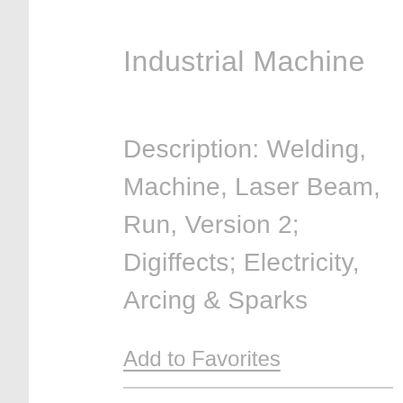Industrial Machine
Description: Welding, Machine, Laser Beam, Run, Version 2; Digiffects; Electricity, Arcing & Sparks
Add to Favorites
▶ PAINT, SPRAY GUN